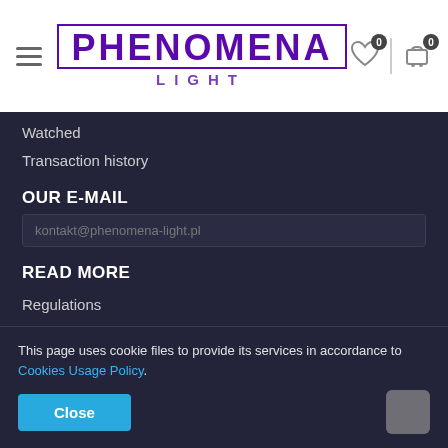[Figure (logo): Phenomena Light logo with purple text and border, hamburger menu icon, heart and cart icons with 0 badges]
Watched
Transaction history
OUR E-MAIL
kontakt@phenomena-light.pl
READ MORE
Regulations
Privacy Policy
Withdrawal from the contract
This page uses cookie files to provide its services in accordance to Cookies Usage Policy.
Close
MY ORDER